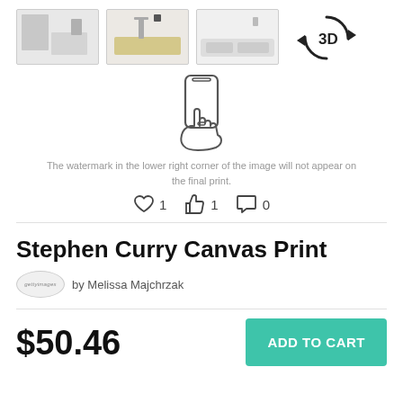[Figure (screenshot): Row of three room preview thumbnail images and a 3D rotate icon]
[Figure (illustration): Hand holding a smartphone icon outline]
The watermark in the lower right corner of the image will not appear on the final print.
♡ 1  👍 1  💬 0
Stephen Curry Canvas Print
by Melissa Majchrzak
$50.46
ADD TO CART